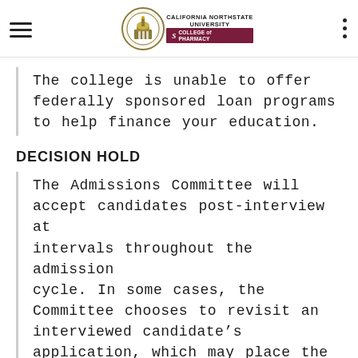California Northstate University College of Pharmacy
The college is unable to offer federally sponsored loan programs to help finance your education.
DECISION HOLD
The Admissions Committee will accept candidates post-interview at intervals throughout the admission cycle. In some cases, the Committee chooses to revisit an interviewed candidate’s application, which may place the post-interview decision on hold. The Office of Admissions will contact the candidate, as soon as